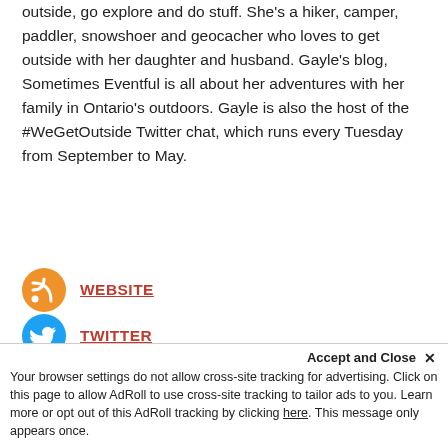outside, go explore and do stuff. She's a hiker, camper, paddler, snowshoer and geocacher who loves to get outside with her daughter and husband. Gayle's blog, Sometimes Eventful is all about her adventures with her family in Ontario's outdoors. Gayle is also the host of the #WeGetOutside Twitter chat, which runs every Tuesday from September to May.
WEBSITE
TWITTER
FACEBOOK
INSTAGRAM
1 COMMENT
lin says:
Accept and Close ×
Your browser settings do not allow cross-site tracking for advertising. Click on this page to allow AdRoll to use cross-site tracking to tailor ads to you. Learn more or opt out of this AdRoll tracking by clicking here. This message only appears once.